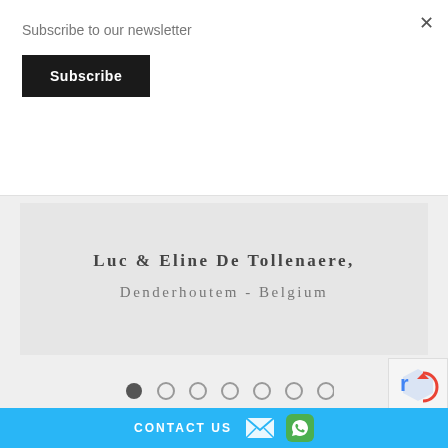Subscribe to our newsletter
Subscribe
×
Luc & Eline De Tollenaere, Denderhoutem - Belgium
[Figure (other): Slideshow pagination dots — 7 circles, first filled dark, rest outline]
[Figure (other): Partial reCAPTCHA badge in bottom right]
CONTACT US